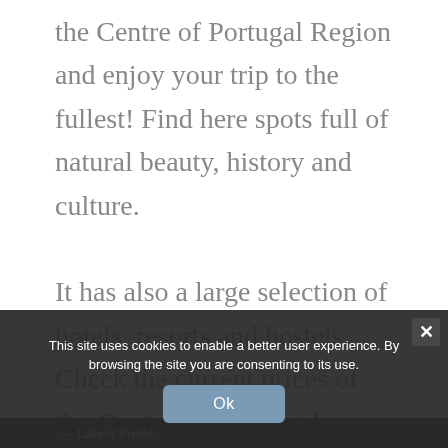the Centre of Portugal Region and enjoy your trip to the fullest! Find here spots full of natural beauty, history and culture.

It has also a large selection of hotels, resorts and hostels. Check the current prices of the Centre of Portugal Region Accommodation to find great
This site uses cookies to enable a better user experience. By browsing the site you are consenting to its use.
Ok
— Latest Posts